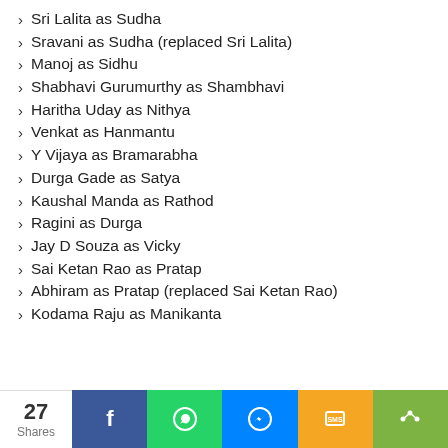Sri Lalita as Sudha
Sravani as Sudha (replaced Sri Lalita)
Manoj as Sidhu
Shabhavi Gurumurthy as Shambhavi
Haritha Uday as Nithya
Venkat as Hanmantu
Y Vijaya as Bramarabha
Durga Gade as Satya
Kaushal Manda as Rathod
Ragini as Durga
Jay D Souza as Vicky
Sai Ketan Rao as Pratap
Abhiram as Pratap (replaced Sai Ketan Rao)
Kodama Raju as Manikanta